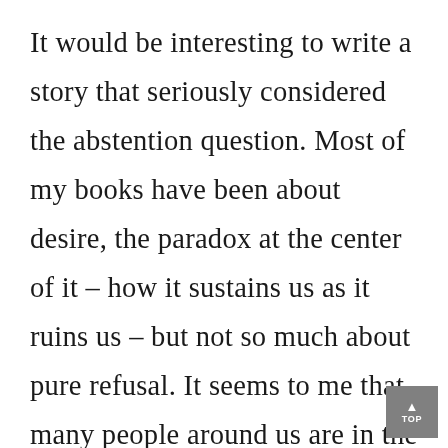It would be interesting to write a story that seriously considered the abstention question. Most of my books have been about desire, the paradox at the center of it – how it sustains us as it ruins us – but not so much about pure refusal. It seems to me that many people around us are in the practice of abstaining from one thing or another all the time –